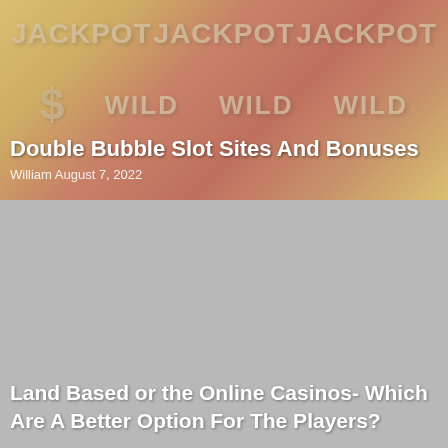[Figure (photo): Slot machine reels showing JACKPOT and WILD text with dollar signs, warm red/gold tones with overlay tint]
Double Bubble Slot Sites And Bonuses
William   August 7, 2022
[Figure (photo): Gray placeholder image for a second article card]
Land Based or the Online Casinos- Which Are A Better Option For The Players?